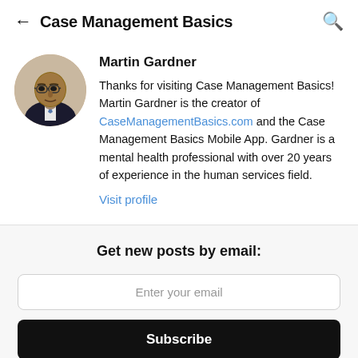Case Management Basics
Martin Gardner

Thanks for visiting Case Management Basics! Martin Gardner is the creator of CaseManagementBasics.com and the Case Management Basics Mobile App. Gardner is a mental health professional with over 20 years of experience in the human services field.

Visit profile
Get new posts by email:
Enter your email
Subscribe